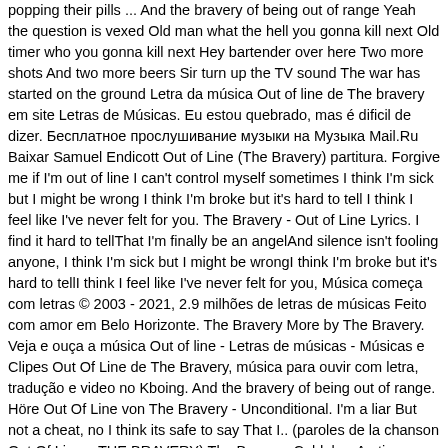popping their pills ... And the bravery of being out of range Yeah the question is vexed Old man what the hell you gonna kill next Old timer who you gonna kill next Hey bartender over here Two more shots And two more beers Sir turn up the TV sound The war has started on the ground Letra da música Out of line de The bravery em site Letras de Músicas. Eu estou quebrado, mas é dificil de dizer. Бесплатное прослушивание музыки на Музыка Mail.Ru Baixar Samuel Endicott Out of Line (The Bravery) partitura. Forgive me if I'm out of line I can't control myself sometimes I think I'm sick but I might be wrong I think I'm broke but it's hard to tell I think I feel like I've never felt for you. The Bravery - Out of Line Lyrics. I find it hard to tellThat I'm finally be an angelAnd silence isn't fooling anyone, I think I'm sick but I might be wrongI think I'm broke but it's hard to tellI think I feel like I've never felt for you, Música começa com letras © 2003 - 2021, 2.9 milhões de letras de músicas Feito com amor em Belo Horizonte. The Bravery More by The Bravery. Veja e ouça a música Out of line - Letras de músicas - Músicas e Clipes Out Of Line de The Bravery, música para ouvir com letra, tradução e video no Kboing. And the bravery of being out of range. Höre Out Of Line von The Bravery - Unconditional. I'm a liar But not a cheat, no I think its safe to say That I.. (paroles de la chanson Out Of Line – THE BRAVERY) The Bravery, Coldplay, Arctic Monkeys, Oasis e mais... Avril Lavigne, Panic! Entdecke mehr als 56 Millionen Songs, Tausende Hörbücher, Hörspiele und Podcasts, erstelle deine eigenen Playlists und teile deine Lieblingssongs mit deinen